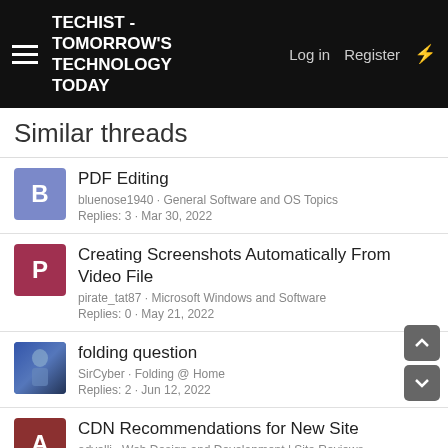TECHIST - TOMORROW'S TECHNOLOGY TODAY | Log in | Register
Similar threads
PDF Editing
bluenose1940 · General Software and OS Topics
Replies: 3 · Mar 30, 2022
Creating Screenshots Automatically From Video File
pirate_tat87 · Microsoft Windows and Software
Replies: 0 · May 21, 2022
folding question
SirCyber · Folding @ Home
Replies: 2 · Jun 12, 2022
CDN Recommendations for New Site
advelli · Web Design and Development | Site Reviews
Replies: 0 · Nov 26, 2021